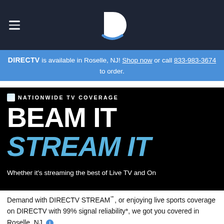[Figure (logo): DIRECTV logo (stylized D with blue swoosh) centered in dark navy navigation bar with hamburger menu icon on left]
DIRECTV is available in Roselle, NJ! Shop now or call 833-983-3674 to order.
[Figure (illustration): Black background hero section with NATIONWIDE TV COVERAGE category label, BEAM IT in large white bold text, STREAM IT in large blue bold italic text]
Whether it's streaming the best of Live TV and On Demand with DIRECTV STREAM℠, or enjoying live sports coverage on DIRECTV with 99% signal reliability*, we got you covered in Roselle, NJ.